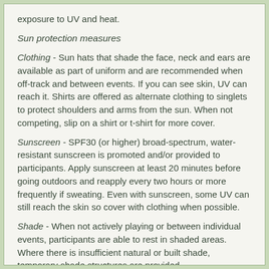exposure to UV and heat.
Sun protection measures
Clothing - Sun hats that shade the face, neck and ears are available as part of uniform and are recommended when off-track and between events. If you can see skin, UV can reach it. Shirts are offered as alternate clothing to singlets to protect shoulders and arms from the sun. When not competing, slip on a shirt or t-shirt for more cover.
Sunscreen - SPF30 (or higher) broad-spectrum, water-resistant sunscreen is promoted and/or provided to participants. Apply sunscreen at least 20 minutes before going outdoors and reapply every two hours or more frequently if sweating. Even with sunscreen, some UV can still reach the skin so cover with clothing when possible.
Shade - When not actively playing or between individual events, participants are able to rest in shaded areas. Where there is insufficient natural or built shade, temporary shade structures are provided
Sunglasses – where practical participants are encouraged to protect their eyes between events using wrap-around